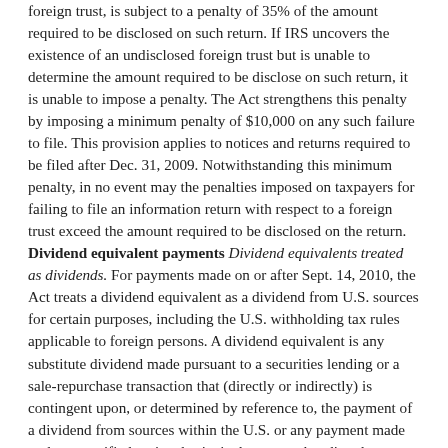foreign trust, is subject to a penalty of 35% of the amount required to be disclosed on such return. If IRS uncovers the existence of an undisclosed foreign trust but is unable to determine the amount required to be disclose on such return, it is unable to impose a penalty. The Act strengthens this penalty by imposing a minimum penalty of $10,000 on any such failure to file. This provision applies to notices and returns required to be filed after Dec. 31, 2009. Notwithstanding this minimum penalty, in no event may the penalties imposed on taxpayers for failing to file an information return with respect to a foreign trust exceed the amount required to be disclosed on the return. Dividend equivalent payments Dividend equivalents treated as dividends. For payments made on or after Sept. 14, 2010, the Act treats a dividend equivalent as a dividend from U.S. sources for certain purposes, including the U.S. withholding tax rules applicable to foreign persons. A dividend equivalent is any substitute dividend made pursuant to a securities lending or a sale-repurchase transaction that (directly or indirectly) is contingent upon, or determined by reference to, the payment of a dividend from sources within the U.S. or any payment made under a specified notional principal contract that directly or indirectly is contingent upon, or